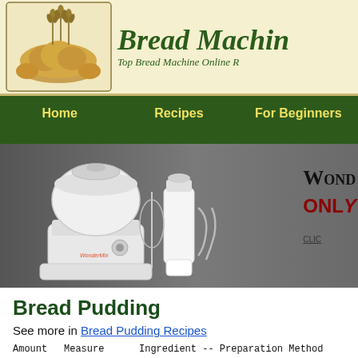[Figure (illustration): Bread machine website header with illustrated bread loaves and wheat stalks on left, and italic green script text 'Bread Machi...' with subtitle 'Top Bread Machine Online R...' on cream/yellow background]
Home    Recipes    For Beginners
[Figure (photo): WonderMill kitchen appliance with mixing bowl, blender, whisk and dough hook attachments on gray background, with text 'Wond...' and 'ONL...' and 'CLI...' partially visible]
Bread Pudding
See more in Bread Pudding Recipes
| Amount | Measure | Ingredient -- Preparation Method |
| --- | --- | --- |
| -------- | ------------ | ----------------------------------- |
| 1 | stick | butter |